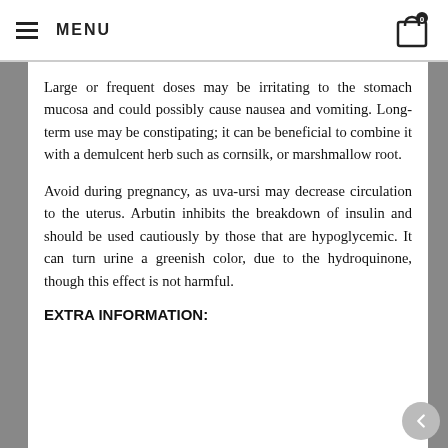MENU
Large or frequent doses may be irritating to the stomach mucosa and could possibly cause nausea and vomiting. Long-term use may be constipating; it can be beneficial to combine it with a demulcent herb such as cornsilk, or marshmallow root.
Avoid during pregnancy, as uva-ursi may decrease circulation to the uterus. Arbutin inhibits the breakdown of insulin and should be used cautiously by those that are hypoglycemic. It can turn urine a greenish color, due to the hydroquinone, though this effect is not harmful.
EXTRA INFORMATION: